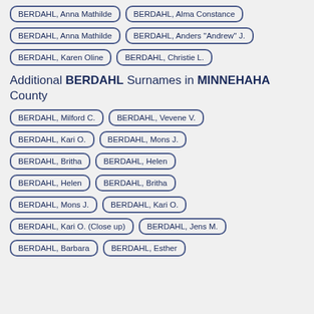BERDAHL, Anna Mathilde
BERDAHL, Alma Constance
BERDAHL, Anna Mathilde
BERDAHL, Anders "Andrew" J.
BERDAHL, Karen Oline
BERDAHL, Christie L.
Additional BERDAHL Surnames in MINNEHAHA County
BERDAHL, Milford C.
BERDAHL, Vevene V.
BERDAHL, Kari O.
BERDAHL, Mons J.
BERDAHL, Britha
BERDAHL, Helen
BERDAHL, Helen
BERDAHL, Britha
BERDAHL, Mons J.
BERDAHL, Kari O.
BERDAHL, Kari O. (Close up)
BERDAHL, Jens M.
BERDAHL, Barbara
BERDAHL, Esther